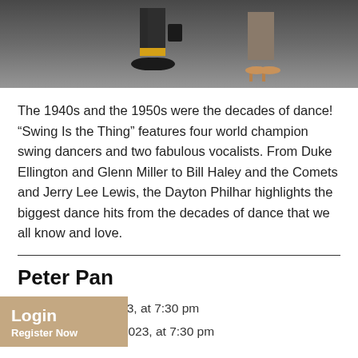[Figure (photo): Cropped photo showing legs and feet of two dancers against a dark gray gradient background. Left dancer wears dark trousers, yellow socks, and black dress shoes. Right dancer wears a skirt and tan heeled sandals.]
The 1940s and the 1950s were the decades of dance! “Swing Is the Thing” features four world champion swing dancers and two fabulous vocalists. From Duke Ellington and Glenn Miller to Bill Haley and the Comets and Jerry Lee Lewis, the Dayton Philhar highlights the biggest dance hits from the decades of dance that we all know and love.
Peter Pan
Friday, April 21, 2023, at 7:30 pm
Saturday, April 22, 2023, at 7:30 pm